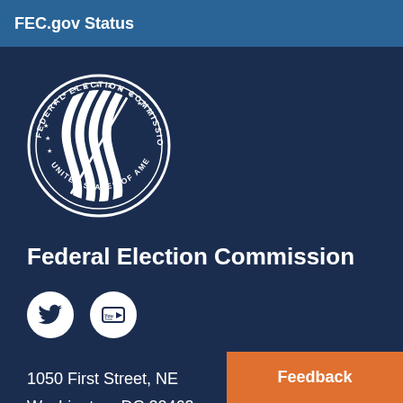FEC.gov Status
[Figure (logo): Federal Election Commission official seal — circular badge with stars around the top arc reading 'Federal Election Commission', stylized American flag stripes in the center, and 'United States of America' along the bottom arc. White on dark blue background.]
Federal Election Commission
[Figure (logo): Twitter bird icon in a white circle]
[Figure (logo): YouTube logo icon in a white circle]
1050 First Street, NE
Washington, DC 20463
Feedback